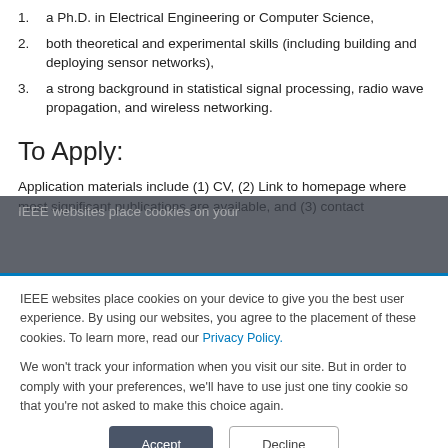1. a Ph.D. in Electrical Engineering or Computer Science,
2. both theoretical and experimental skills (including building and deploying sensor networks),
3. a strong background in statistical signal processing, radio wave propagation, and wireless networking.
To Apply:
Application materials include (1) CV, (2) Link to homepage where most significant publications are available, and (3) contact
IEEE websites place cookies on your device to give you the best user experience. By using our websites, you agree to the placement of these cookies. To learn more, read our Privacy Policy.

We won't track your information when you visit our site. But in order to comply with your preferences, we'll have to use just one tiny cookie so that you're not asked to make this choice again.